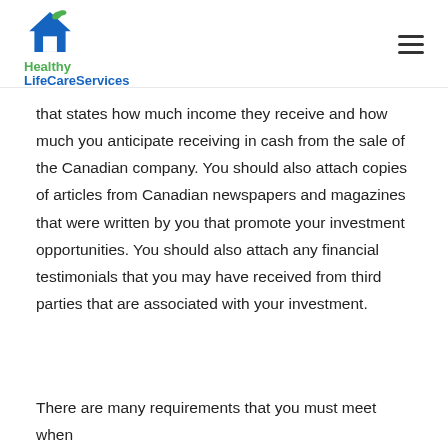Healthy LifeCareServices
that states how much income they receive and how much you anticipate receiving in cash from the sale of the Canadian company. You should also attach copies of articles from Canadian newspapers and magazines that were written by you that promote your investment opportunities. You should also attach any financial testimonials that you may have received from third parties that are associated with your investment.
There are many requirements that you must meet when